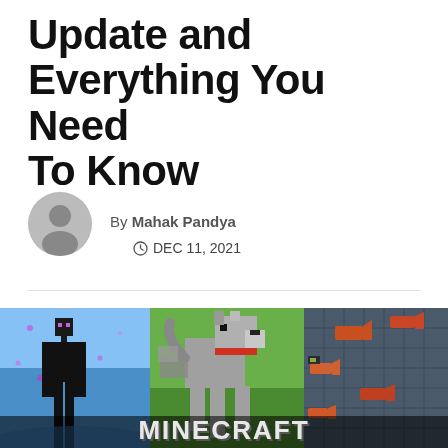Update and Everything You Need To Know
By Mahak Pandya
DEC 11, 2021
[Figure (photo): Minecraft game artwork showing three panels: an Enderman on a purple/blue background, a wolf/dog in a green field, and a dark underwater scene with fish. The Minecraft logo appears at the bottom.]